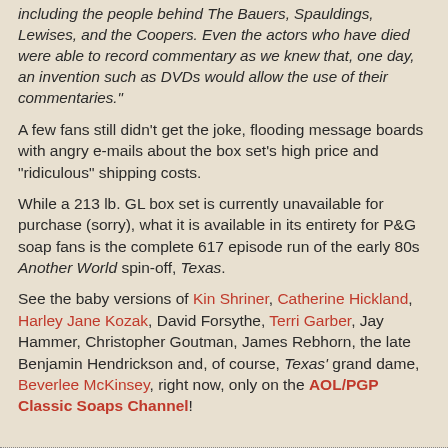including the people behind The Bauers, Spauldings, Lewises, and the Coopers. Even the actors who have died were able to record commentary as we knew that, one day, an invention such as DVDs would allow the use of their commentaries."
A few fans still didn't get the joke, flooding message boards with angry e-mails about the box set's high price and "ridiculous" shipping costs.
While a 213 lb. GL box set is currently unavailable for purchase (sorry), what it is available in its entirety for P&G soap fans is the complete 617 episode run of the early 80s Another World spin-off, Texas.
See the baby versions of Kin Shriner, Catherine Hickland, Harley Jane Kozak, David Forsythe, Terri Garber, Jay Hammer, Christopher Goutman, James Rebhorn, the late Benjamin Hendrickson and, of course, Texas' grand dame, Beverlee McKinsey, right now, only on the AOL/PGP Classic Soaps Channel!